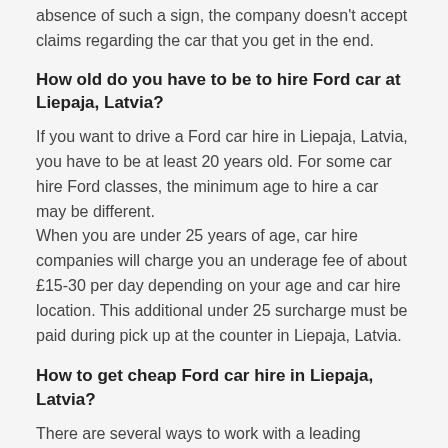absence of such a sign, the company doesn't accept claims regarding the car that you get in the end.
How old do you have to be to hire Ford car at Liepaja, Latvia?
If you want to drive a Ford car hire in Liepaja, Latvia, you have to be at least 20 years old. For some car hire Ford classes, the minimum age to hire a car may be different. When you are under 25 years of age, car hire companies will charge you an underage fee of about £15-30 per day depending on your age and car hire location. This additional under 25 surcharge must be paid during pick up at the counter in Liepaja, Latvia.
How to get cheap Ford car hire in Liepaja, Latvia?
There are several ways to work with a leading supplier and at the same time to save your money:
Reserve your Ford vehicle a minimum of 2-3 weeks prior to pick-up date;
Compare rates in Liepaja, Latvia with the prices in the